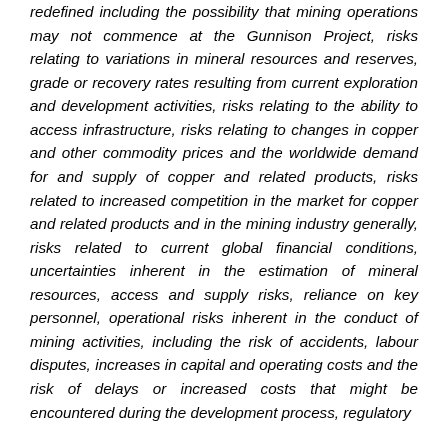redefined including the possibility that mining operations may not commence at the Gunnison Project, risks relating to variations in mineral resources and reserves, grade or recovery rates resulting from current exploration and development activities, risks relating to the ability to access infrastructure, risks relating to changes in copper and other commodity prices and the worldwide demand for and supply of copper and related products, risks related to increased competition in the market for copper and related products and in the mining industry generally, risks related to current global financial conditions, uncertainties inherent in the estimation of mineral resources, access and supply risks, reliance on key personnel, operational risks inherent in the conduct of mining activities, including the risk of accidents, labour disputes, increases in capital and operating costs and the risk of delays or increased costs that might be encountered during the development process, regulatory